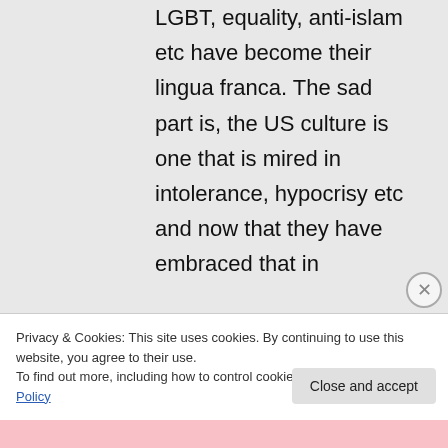LGBT, equality, anti-islam etc have become their lingua franca. The sad part is, the US culture is one that is mired in intolerance, hypocrisy etc and now that they have embraced that in
Privacy & Cookies: This site uses cookies. By continuing to use this website, you agree to their use.
To find out more, including how to control cookies, see here: Cookie Policy
Close and accept